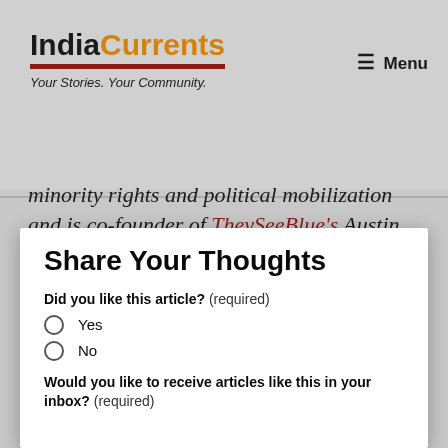IndiaCurrents — Your Stories. Your Community.
minority rights and political mobilization and is co-founder of TheySeeBlue's Austin chapter, part of an all-volunteer network of
Share Your Thoughts
Did you like this article? (required)
Yes
No
Would you like to receive articles like this in your inbox? (required)